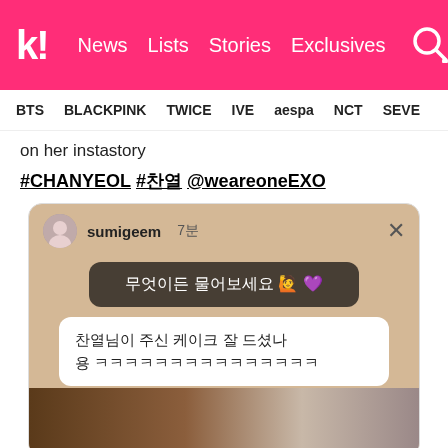k! News  Lists  Stories  Exclusives
BTS  BLACKPINK  TWICE  IVE  aespa  NCT  SEVE
on her instastory
#CHANYEOL #찬열 @weareoneEXO
[Figure (screenshot): Instagram story screenshot from sumigeem showing a question box with Korean text '무엇이든 물어보세요' and an answer '찬열님이 주신 케이크 잘 드셨나용 ㅋㅋㅋㅋㅋㅋㅋㅋㅋㅋㅋㅋㅋㅋㅋ', with a photo of cake at the bottom]